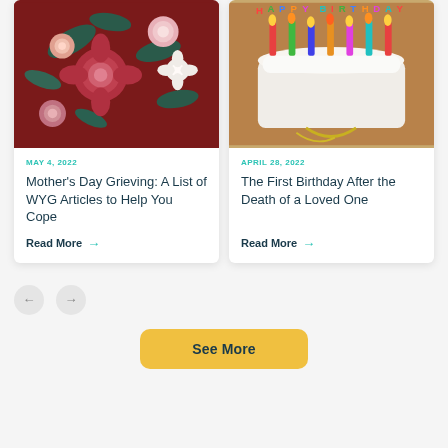[Figure (photo): Dark red floral pattern with roses and leaves]
MAY 4, 2022
Mother's Day Grieving: A List of WYG Articles to Help You Cope
Read More →
[Figure (photo): Birthday cake with colorful Happy Birthday candles]
APRIL 28, 2022
The First Birthday After the Death of a Loved One
Read More →
See More